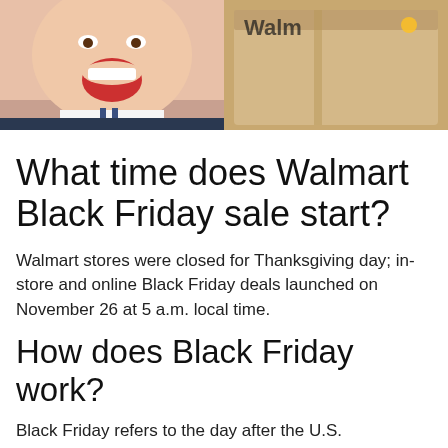[Figure (photo): Two photos side by side: left shows a man with mouth open in excitement wearing a suit; right shows a Walmart branded box/package]
What time does Walmart Black Friday sale start?
Walmart stores were closed for Thanksgiving day; in-store and online Black Friday deals launched on November 26 at 5 a.m. local time.
How does Black Friday work?
Black Friday refers to the day after the U.S. Thanksgiving holiday, which has also traditionally been a holiday itself for many